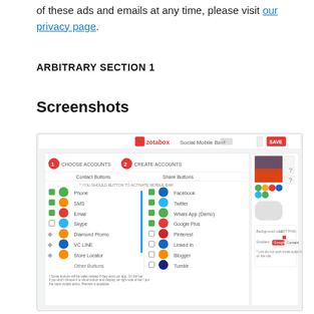of these ads and emails at any time, please visit our privacy page.
ARBITRARY SECTION 1
Screenshots
[Figure (screenshot): Screenshot of Zotabox Social Mobile Bar interface showing account setup and social buttons configuration panel with a preview of a mobile bar featuring social media icons (phone, SMS, email, Facebook, Twitter, WhatsApp) and an image of the Golden Gate Bridge.]